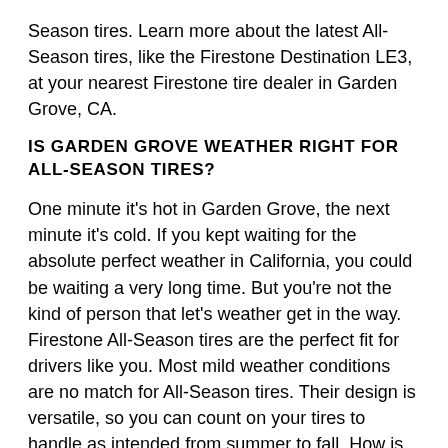Season tires. Learn more about the latest All-Season tires, like the Firestone Destination LE3, at your nearest Firestone tire dealer in Garden Grove, CA.
IS GARDEN GROVE WEATHER RIGHT FOR ALL-SEASON TIRES?
One minute it's hot in Garden Grove, the next minute it's cold. If you kept waiting for the absolute perfect weather in California, you could be waiting a very long time. But you're not the kind of person that let's weather get in the way. Firestone All-Season tires are the perfect fit for drivers like you. Most mild weather conditions are no match for All-Season tires. Their design is versatile, so you can count on your tires to handle as intended from summer to fall. How is this possible? In general, All-Season tire tread features distinctive grooves and slits that help with solid handling on wet, dry and lightly snow-covered roads. They can conquer the pavement rain or shine, whether you're hitting up Route 66 on summer break or sight-seeing in the mountains. And